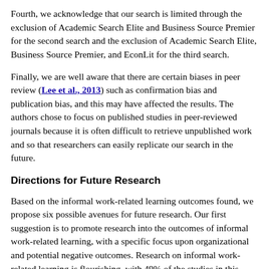Fourth, we acknowledge that our search is limited through the exclusion of Academic Search Elite and Business Source Premier for the second search and the exclusion of Academic Search Elite, Business Source Premier, and EconLit for the third search.
Finally, we are well aware that there are certain biases in peer review (Lee et al., 2013) such as confirmation bias and publication bias, and this may have affected the results. The authors chose to focus on published studies in peer-reviewed journals because it is often difficult to retrieve unpublished work and so that researchers can easily replicate our search in the future.
Directions for Future Research
Based on the informal work-related learning outcomes found, we propose six possible avenues for future research. Our first suggestion is to promote research into the outcomes of informal work-related learning, with a specific focus upon organizational and potential negative outcomes. Research on informal work-related learning is flourishing, with 49% of the studies in this review published from 2014 onwards. However, studies mainly focused on individual and positive outcomes, while more insight is needed on possible organizational or negative outcomes. Following on from this, Table 2 proposes some interesting research questions for future research.